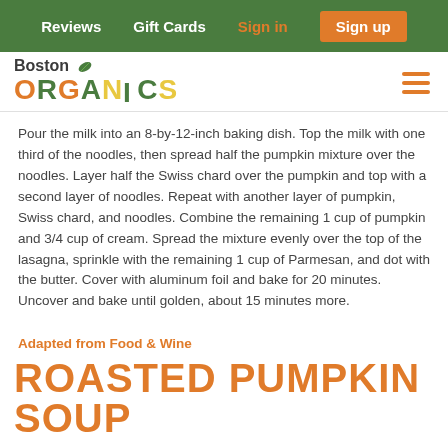Reviews  Gift Cards  Sign in  Sign up
[Figure (logo): Boston Organics logo with colorful letters and leaf decoration, plus hamburger menu icon]
Pour the milk into an 8-by-12-inch baking dish. Top the milk with one third of the noodles, then spread half the pumpkin mixture over the noodles. Layer half the Swiss chard over the pumpkin and top with a second layer of noodles. Repeat with another layer of pumpkin, Swiss chard, and noodles. Combine the remaining 1 cup of pumpkin and 3/4 cup of cream. Spread the mixture evenly over the top of the lasagna, sprinkle with the remaining 1 cup of Parmesan, and dot with the butter. Cover with aluminum foil and bake for 20 minutes. Uncover and bake until golden, about 15 minutes more.
Adapted from Food & Wine
ROASTED PUMPKIN SOUP